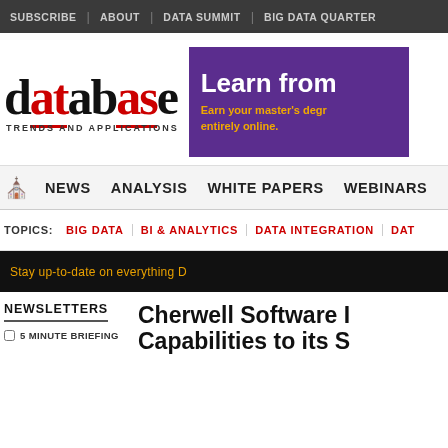SUBSCRIBE | ABOUT | DATA SUMMIT | BIG DATA QUARTER
[Figure (logo): Database Trends and Applications logo]
[Figure (other): Purple advertisement banner: Learn from... Earn your master's degr... entirely online.]
NEWS | ANALYSIS | WHITE PAPERS | WEBINARS
TOPICS: BIG DATA | BI & ANALYTICS | DATA INTEGRATION | DAT
Stay up-to-date on everything D
NEWSLETTERS
5 MINUTE BRIEFING
Cherwell Software I... Capabilities to its S...